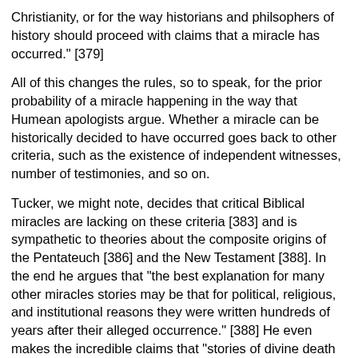Christianity, or for the way historians and philsophers of history should proceed with claims that a miracle has occurred." [379]
All of this changes the rules, so to speak, for the prior probability of a miracle happening in the way that Humean apologists argue. Whether a miracle can be historically decided to have occurred goes back to other criteria, such as the existence of independent witnesses, number of testimonies, and so on.
Tucker, we might note, decides that critical Biblical miracles are lacking on these criteria [383] and is sympathetic to theories about the composite origins of the Pentateuch [386] and the New Testament [388]. In the end he argues that "the best explanation for many other miracles stories may be that for political, religious, and institutional reasons they were written hundreds of years after their alleged occurrence." [388] He even makes the incredible claims that "stories of divine death and resurrection were ride in ancient Near East mythology"